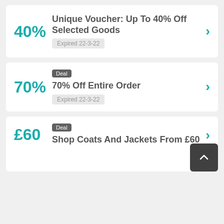40%
Unique Voucher: Up To 40% Off Selected Goods
Expired 22-3-22
Deal
70%
70% Off Entire Order
Expired 22-3-22
Deal
£60
Shop Coats And Jackets From £60